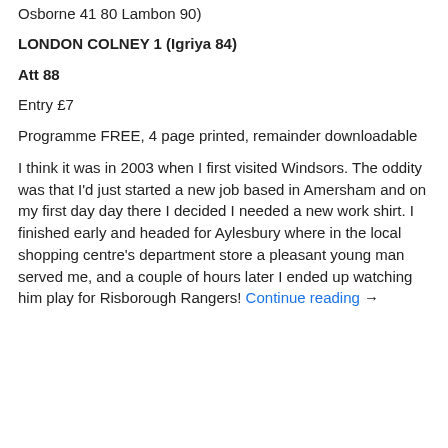Osborne 41 80 Lambon 90)
LONDON COLNEY 1 (Igriya 84)
Att 88
Entry £7
Programme FREE, 4 page printed, remainder downloadable
I think it was in 2003 when I first visited Windsors. The oddity was that I'd just started a new job based in Amersham and on my first day day there I decided I needed a new work shirt. I finished early and headed for Aylesbury where in the local shopping centre's department store a pleasant young man served me, and a couple of hours later I ended up watching him play for Risborough Rangers! Continue reading →